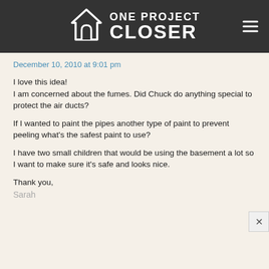[Figure (logo): One Project Closer logo with house icon on dark background, with hamburger menu icon on right]
December 10, 2010 at 9:01 pm
I love this idea!
I am concerned about the fumes. Did Chuck do anything special to protect the air ducts?

If I wanted to paint the pipes another type of paint to prevent peeling what's the safest paint to use?

I have two small children that would be using the basement a lot so I want to make sure it's safe and looks nice.

Thank you,
Sarah